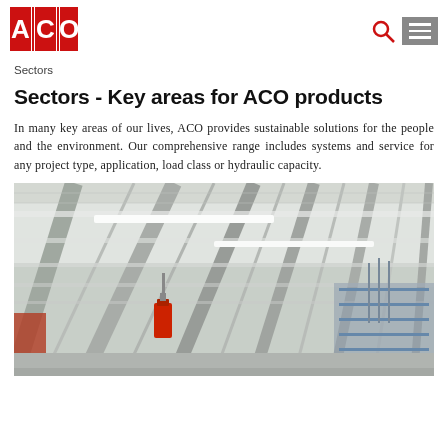[Figure (logo): ACO logo - red squares with white letters A, C, O]
Sectors
Sectors - Key areas for ACO products
In many key areas of our lives, ACO provides sustainable solutions for the people and the environment. Our comprehensive range includes systems and service for any project type, application, load class or hydraulic capacity.
[Figure (photo): Interior industrial ceiling photo showing metal corrugated roof structure with white beams, hanging red fire extinguisher, fluorescent lighting strips, and storage racks in background]